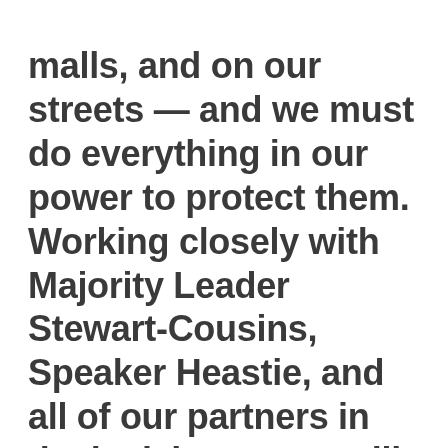malls, and on our streets — and we must do everything in our power to protect them. Working closely with Majority Leader Stewart-Cousins, Speaker Heastie, and all of our partners in the legislature, we will strengthen our gun laws, help keep New Yorkers safe, give law enforcement the tools